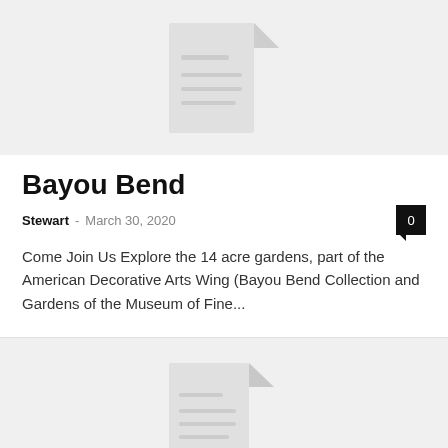[Figure (illustration): Placeholder document image with gray background and stylized document icon]
Bayou Bend
Stewart - March 30, 2020  0
Come Join Us Explore the 14 acre gardens, part of the American Decorative Arts Wing (Bayou Bend Collection and Gardens of the Museum of Fine...
[Figure (illustration): Second placeholder document image with gray background and stylized document icon]